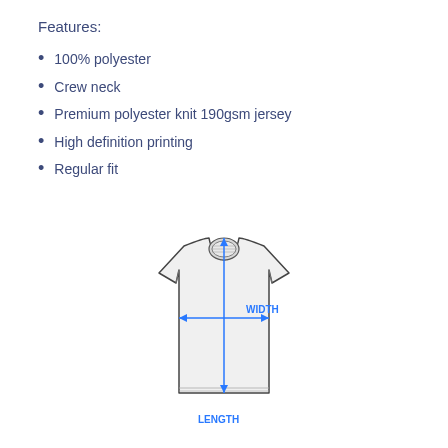Features:
100% polyester
Crew neck
Premium polyester knit 190gsm jersey
High definition printing
Regular fit
[Figure (illustration): Line drawing of a t-shirt with blue measurement arrows indicating WIDTH (horizontal) and LENGTH (vertical)]